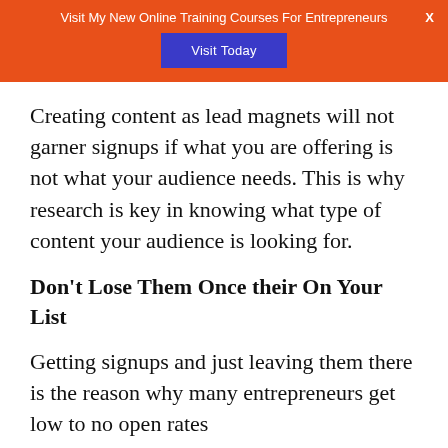Visit My New Online Training Courses For Entrepreneurs
[Figure (other): Orange banner with 'Visit Today' button and X close button]
Creating content as lead magnets will not garner signups if what you are offering is not what your audience needs. This is why research is key in knowing what type of content your audience is looking for.
Don't Lose Them Once their On Your List
Getting signups and just leaving them there is the reason why many entrepreneurs get low to no open rates